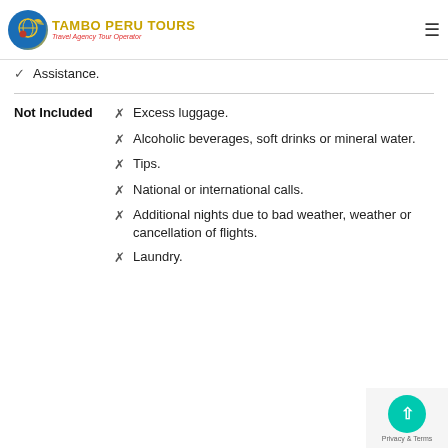Tambo Peru Tours — Travel Agency Tour Operator
Assistance.
Not Included
Excess luggage.
Alcoholic beverages, soft drinks or mineral water.
Tips.
National or international calls.
Additional nights due to bad weather, weather or cancellation of flights.
Laundry.